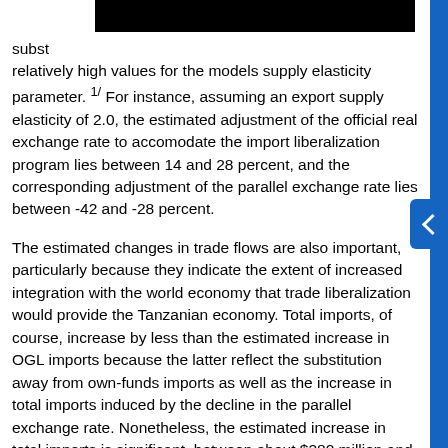subst experience. relatively high values for the models supply elasticity parameter. 1/ For instance, assuming an export supply elasticity of 2.0, the estimated adjustment of the official real exchange rate to accomodate the import liberalization program lies between 14 and 28 percent, and the corresponding adjustment of the parallel exchange rate lies between -42 and -28 percent.
The estimated changes in trade flows are also important, particularly because they indicate the extent of increased integration with the world economy that trade liberalization would provide the Tanzanian economy. Total imports, of course, increase by less than the estimated increase in OGL imports because the latter reflect the substitution away from own-funds imports as well as the increase in total imports induced by the decline in the parallel exchange rate. Nonetheless, the estimated increase in total imports is significant, between about $280 million and $559 million. The increase in official exports, which is an important objective of import liberalization in Tanzania, is the most dramatic. The estimates suggest